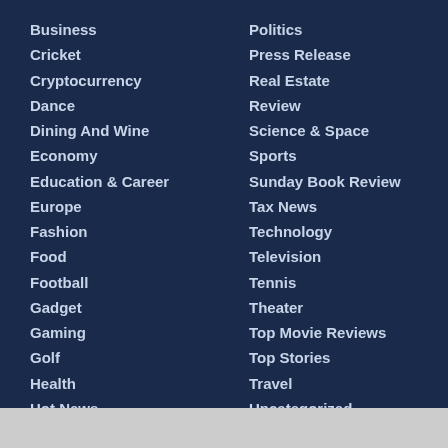Business
Cricket
Cryptocurrency
Dance
Dining And Wine
Economy
Education & Career
Europe
Fashion
Food
Football
Gadget
Gaming
Golf
Health
Hot News
Politics
Press Release
Real Estate
Review
Science & Space
Sports
Sunday Book Review
Tax News
Technology
Television
Tennis
Theater
Top Movie Reviews
Top Stories
Travel
Uncategorized